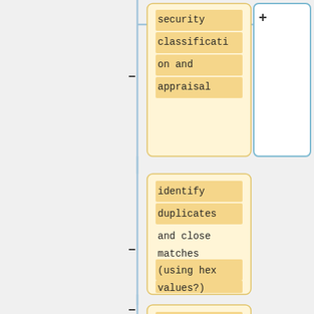[Figure (flowchart): Partial flowchart showing three yellow rounded-rectangle nodes connected by a vertical blue line with minus/plus connectors. Node 1 (top): 'security classification and appraisal'. Node 2 (middle): 'identify duplicates and close matches (using hex values?)'. Node 3 (bottom, cropped): 'high-level sorting and grouping of batches of objects into SIPs (incl. tracking difference'. A blue outlined rectangle is partially visible at top right with a plus connector.]